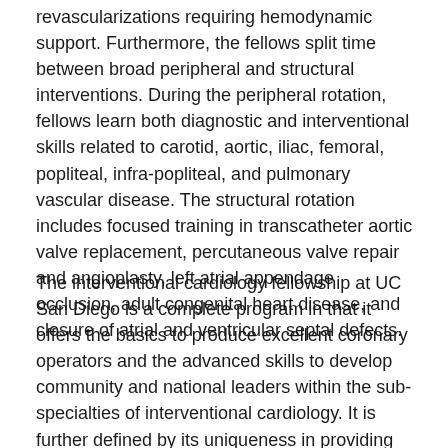revascularizations requiring hemodynamic support. Furthermore, the fellows split time between broad peripheral and structural interventions.  During the peripheral rotation, fellows learn both diagnostic and interventional skills related to carotid, aortic, iliac, femoral, popliteal, infra-popliteal, and pulmonary vascular disease. The structural rotation includes focused training in transcatheter aortic valve replacement, percutaneous valve repair and angioplasty, left atrial appendage occlusion, adult congenital heart disease, and closure of atrial and ventricular septal defects.
The interventional cardiology fellowship at UC San Diego is a complete program in that it offers the basics to produce excellent coronary operators and the advanced skills to develop community and national leaders within the sub-specialties of interventional cardiology.  It is further defined by its uniqueness in providing training in interventional diagnostic from the coronary and interventional cardiac...